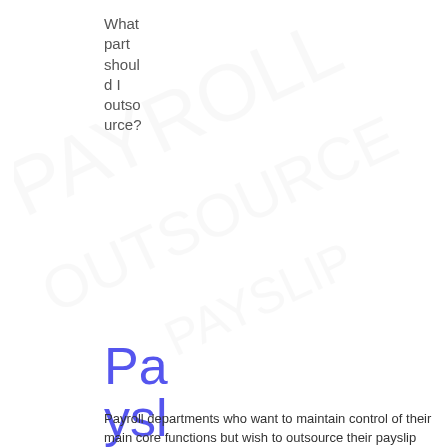What part should I outsource?
Payslip printing, e-payslips and multi-channel distribution automation without outsourcing the whole department
Payroll departments who want to maintain control of their main core functions but wish to outsource their payslip